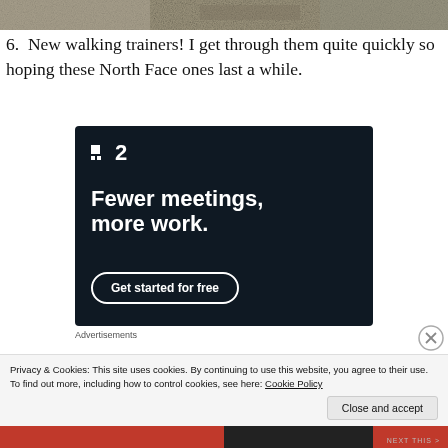[Figure (photo): Partial top image, cropped texture/natural scene]
6.  New walking trainers! I get through them quite quickly so hoping these North Face ones last a while.
[Figure (screenshot): Advertisement for a project management tool showing logo 'Plan 2', tagline 'Fewer meetings, more work.' and a 'Get started for free' button on dark navy background]
Advertisements
Privacy & Cookies: This site uses cookies. By continuing to use this website, you agree to their use.
To find out more, including how to control cookies, see here: Cookie Policy
Close and accept